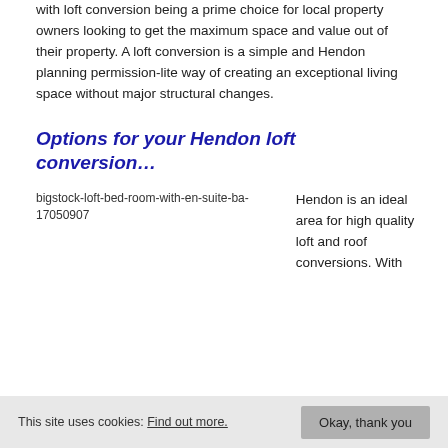with loft conversion being a prime choice for local property owners looking to get the maximum space and value out of their property. A loft conversion is a simple and Hendon planning permission-lite way of creating an exceptional living space without major structural changes.
Options for your Hendon loft conversion…
[Figure (photo): Broken image placeholder showing alt text: bigstock-loft-bed-room-with-en-suite-ba-17050907]
Hendon is an ideal area for high quality loft and roof conversions. With
This site uses cookies: Find out more. Okay, thank you